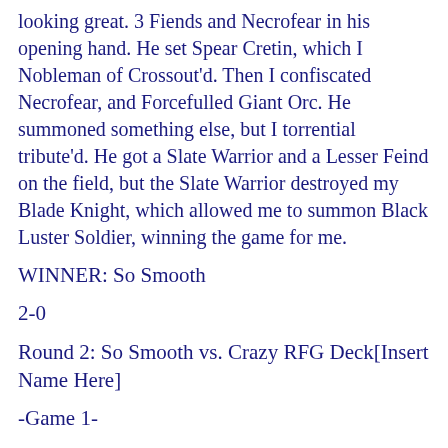looking great. 3 Fiends and Necrofear in his opening hand. He set Spear Cretin, which I Nobleman of Crossout'd. Then I confiscated Necrofear, and Forcefulled Giant Orc. He summoned something else, but I torrential tribute'd. He got a Slate Warrior and a Lesser Feind on the field, but the Slate Warrior destroyed my Blade Knight, which allowed me to summon Black Luster Soldier, winning the game for me.
WINNER: So Smooth
2-0
Round 2: So Smooth vs. Crazy RFG Deck[Insert Name Here]
-Game 1-
He did some crazy RFGing, and I helped out with my Kycoos and Dark Blade the Dragon Knight. He has no Dimension Fusions, and if he did this deck would have a chance, but he dug himself into too much of a hole, so when I took control and started beating him down it was